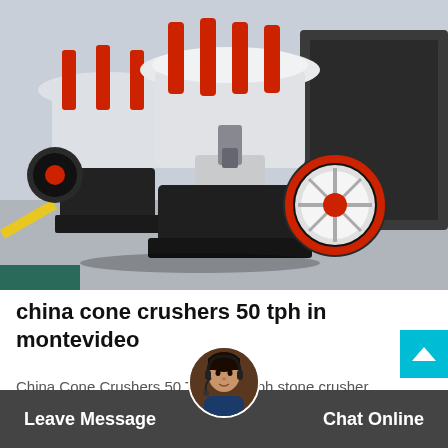[Figure (photo): Industrial cone crushers in a factory/warehouse setting. Large heavy machinery with red hydraulic cylinders, white metal bodies, black steel frames and black/white belt wheels. Multiple units visible on a grey concrete floor.]
china cone crushers 50 tph in montevideo
China Cone Crushers 50 Tph . 100 tph stone crusher manufacturer india. Industrial Crusher Automatic Stone Crusher Manufac...
Leave Message   Chat Online